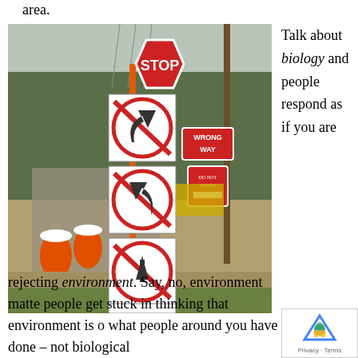area.
[Figure (photo): A road construction zone with multiple stacked road signs on a post: a red STOP octagon sign on top, followed by four circular prohibition signs (no left turn, no right turn, no straight/down, no straight/up). To the right, a WRONG WAY sign and a DO NOT ENTER sign are visible. Orange construction barrels and yellow construction equipment are in the background. A tree is visible on the right side.]
Talk about biology and people respond as if you are
rejecting environment. Say, no, environment matte people get stuck in thinking that environment is o what people around you have done – not biological